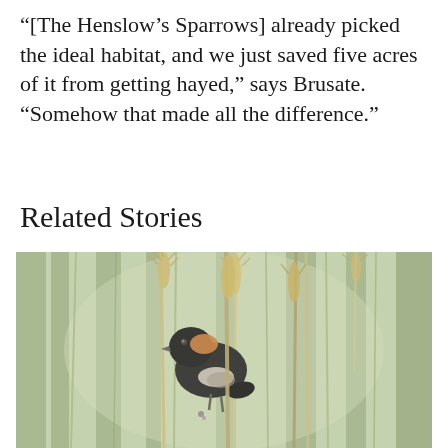“[The Henslow’s Sparrows] already picked the ideal habitat, and we just saved five acres of it from getting hayed,” says Brusate. “Somehow that made all the difference.”
Related Stories
[Figure (photo): A small black bird with orange-brown and white markings perched on tall grass stalks and seed heads, set against a soft green blurred background of grass and vegetation.]